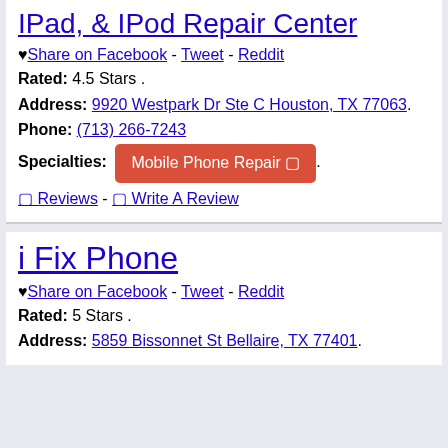BE Wireless - iPhone, IPad, & IPod Repair Center
♥ Share on Facebook - Tweet - Reddit
Rated: 4.5 Stars .
Address: 9920 Westpark Dr Ste C Houston, TX 77063.
Phone: (713) 266-7243
Specialties: Mobile Phone Repair 🔲 .
🔲 Reviews - 🔲 Write A Review
i Fix Phone
♥ Share on Facebook - Tweet - Reddit
Rated: 5 Stars .
Address: 5859 Bissonnet St Bellaire, TX 77401.